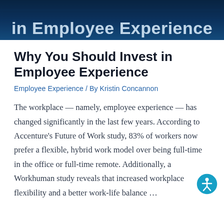[Figure (photo): Dark blue toned hero banner image with overlaid text reading 'in Employee Experience']
Why You Should Invest in Employee Experience
Employee Experience / By Kristin Concannon
The workplace — namely, employee experience — has changed significantly in the last few years. According to Accenture’s Future of Work study, 83% of workers now prefer a flexible, hybrid work model over being full-time in the office or full-time remote. Additionally, a Workhuman study reveals that increased workplace flexibility and a better work-life balance …